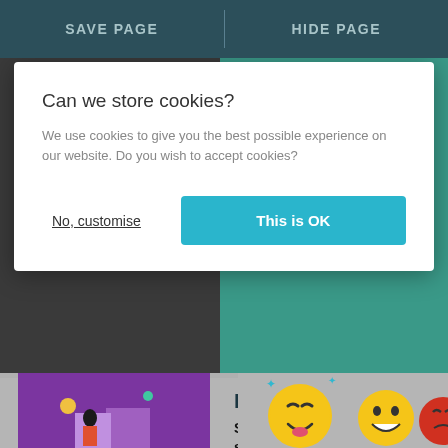SAVE PAGE | HIDE PAGE
Can we store cookies?
We use cookies to give you the best possible experience on our website. Do you wish to accept cookies?
No, customise
This is OK
Want to talk?
There are loads of ways to contact us and you can talk about anything.
Message boards
Share your experience and get support or read advice from other young people.
[Figure (illustration): Purple illustration with figures and doors]
[Figure (illustration): Emoji faces: happy, tongue out, angry]